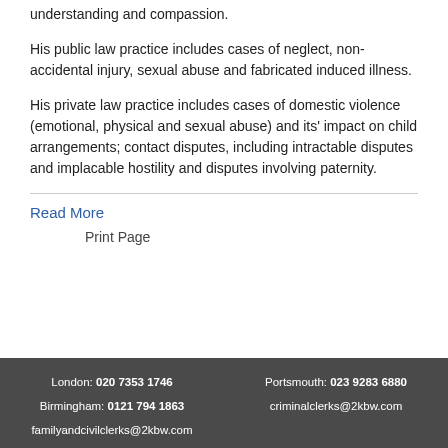understanding and compassion.
His public law practice includes cases of neglect, non-accidental injury, sexual abuse and fabricated induced illness.
His private law practice includes cases of domestic violence (emotional, physical and sexual abuse) and its' impact on child arrangements; contact disputes, including intractable disputes and implacable hostility and disputes involving paternity.
Read More
Print Page
London: 020 7353 1746  Portsmouth: 023 9283 6880  Birmingham: 0121 794 1863  criminalclerks@2kbw.com  familyandcivilclerks@2kbw.com